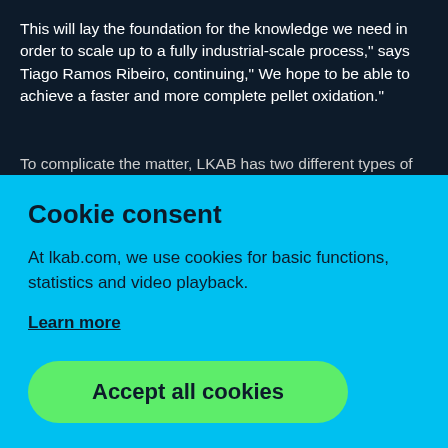This will lay the foundation for the knowledge we need in order to scale up to a fully industrial-scale process," says Tiago Ramos Ribeiro, continuing," We hope to be able to achieve a faster and more complete pellet oxidation."
To complicate the matter, LKAB has two different types of
Cookie consent
At lkab.com, we use cookies for basic functions, statistics and video playback.
Learn more
Accept all cookies
Reject